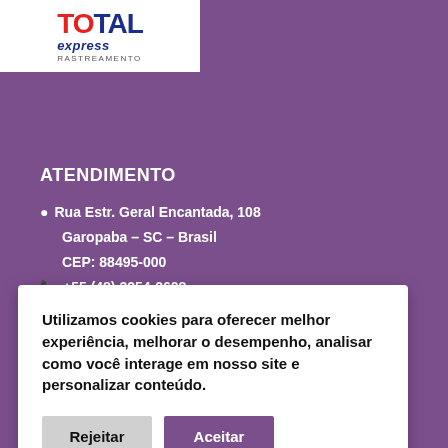[Figure (logo): Total Express Rastreamento logo — red and blue stylized text 'TOTAL' with 'express' in blue italic and 'RASTREAMENTO' small caps below, on white background]
ATENDIMENTO
📍 Rua Estr. Geral Encantada, 108
Garopaba – SC – Brasil
CEP: 88495-000
📞 +55 (48) 3254-2608
Utilizamos cookies para oferecer melhor experiência, melhorar o desempenho, analisar como você interage em nosso site e personalizar conteúdo.